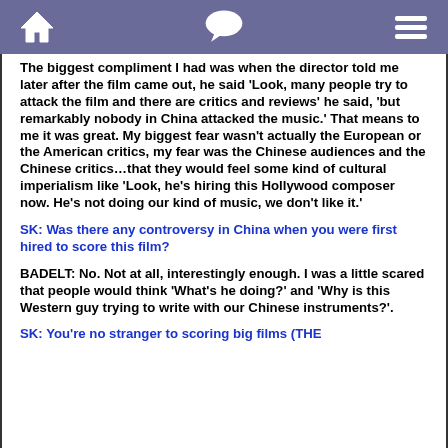[navigation bar with home, chat, and menu icons]
The biggest compliment I had was when the director told me later after the film came out, he said ‘Look, many people try to attack the film and there are critics and reviews’ he said, ‘but remarkably nobody in China attacked the music.’ That means to me it was great. My biggest fear wasn’t actually the European or the American critics, my fear was the Chinese audiences and the Chinese critics…that they would feel some kind of cultural imperialism like ‘Look, he’s hiring this Hollywood composer now. He’s not doing our kind of music, we don’t like it.’
SK: Was there any controversy in China when you were first hired to score this film?
BADELT: No. Not at all, interestingly enough. I was a little scared that people would think ‘What’s he doing?’ and ‘Why is this Western guy trying to write with our Chinese instruments?’.
SK: You’re no stranger to scoring big films (THE